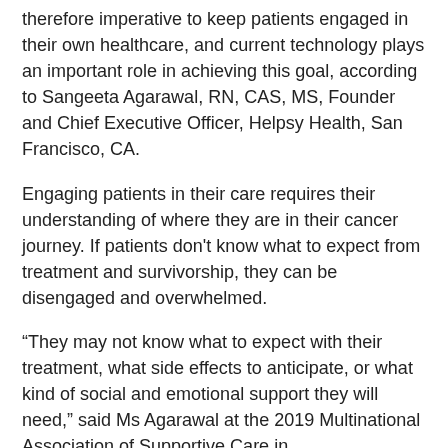therefore imperative to keep patients engaged in their own healthcare, and current technology plays an important role in achieving this goal, according to Sangeeta Agarawal, RN, CAS, MS, Founder and Chief Executive Officer, Helpsy Health, San Francisco, CA.
Engaging patients in their care requires their understanding of where they are in their cancer journey. If patients don't know what to expect from treatment and survivorship, they can be disengaged and overwhelmed.
“They may not know what to expect with their treatment, what side effects to anticipate, or what kind of social and emotional support they will need,” said Ms Agarawal at the 2019 Multinational Association of Supportive Care in Cancer/International Society of Oral Oncology annual meeting. “That results in a loss of clarity.”
But the confusion that patients have is often not a result of apathy on the part of clinicians. Most oncologists want to support their patients as much as